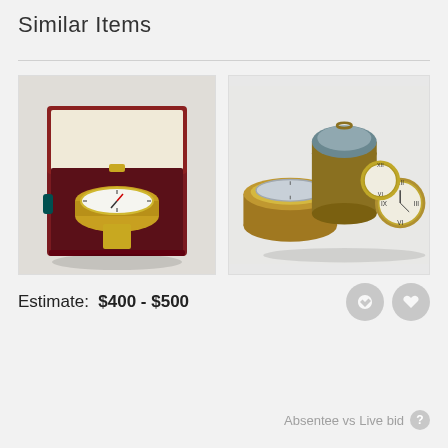Similar Items
[Figure (photo): A compass in an open mahogany wooden box with gold fittings, white compass face visible]
[Figure (photo): A group of antique brass maritime clocks and compasses arranged together on a white background]
Estimate:  $400 - $500
Login for Price
Absentee vs Live bid